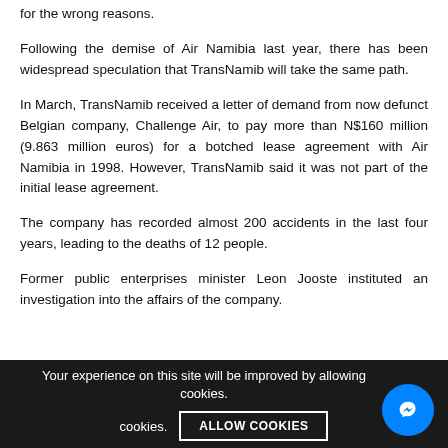for the wrong reasons.
Following the demise of Air Namibia last year, there has been widespread speculation that TransNamib will take the same path.
In March, TransNamib received a letter of demand from now defunct Belgian company, Challenge Air, to pay more than N$160 million (9.863 million euros) for a botched lease agreement with Air Namibia in 1998. However, TransNamib said it was not part of the initial lease agreement.
The company has recorded almost 200 accidents in the last four years, leading to the deaths of 12 people.
Former public enterprises minister Leon Jooste instituted an investigation into the affairs of the company.
Your experience on this site will be improved by allowing cookies.
ALLOW COOKIES